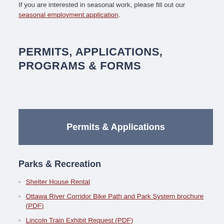If you are interested in seasonal work, please fill out our seasonal employment application.
PERMITS, APPLICATIONS, PROGRAMS & FORMS
Permits & Applications
Parks & Recreation
Shelter House Rental
Ottawa River Corridor Bike Path and Park System brochure (PDF)
Lincoln Train Exhibit Request (PDF)